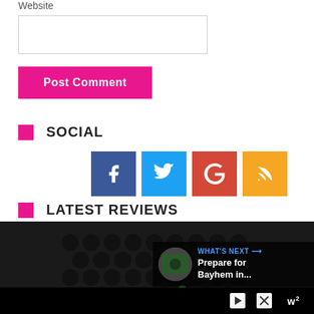Website
[Figure (screenshot): Website text input field]
[Figure (screenshot): Post Comment button (pink/magenta)]
SOCIAL
[Figure (infographic): Social media icons: Facebook (blue), Twitter (light blue), Google+ (red-orange), RSS (orange)]
[Figure (infographic): Like button (blue circle with heart) showing count 1, and scroll-up arrow button (pink)]
LATEST REVIEWS
[Figure (screenshot): What's Next panel with thumbnail and text: Prepare for Bayhem in...]
[Figure (photo): Dark image showing Xbox Series X console with circular ventilation holes]
[Figure (infographic): Advertisement bar at bottom with play/close icons and branding]